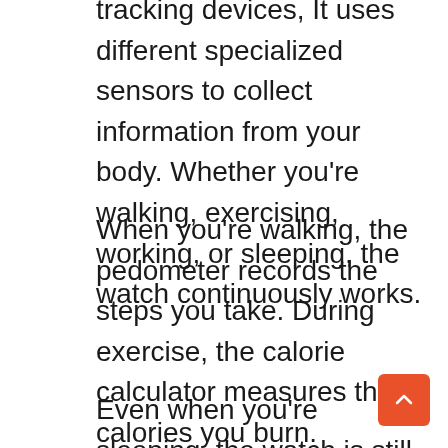tracking devices, It uses different specialized sensors to collect information from your body. Whether you're walking, exercising, working, or sleeping, the watch continuously works.
When you're walking, the pedometer records the steps you take. During exercise, the calorie calculator measures the calories you burn.
Even when you're sleeping, the watch is still working. It tracks your sleeping patterns and lets you know the quality of